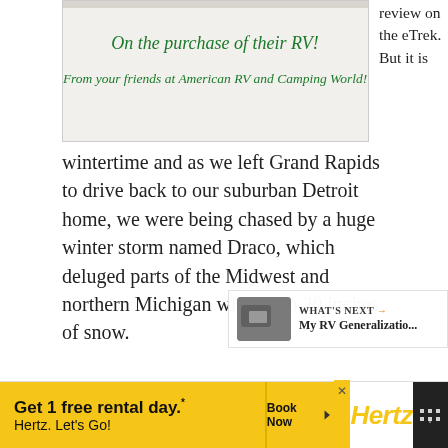[Figure (photo): Photo of a banner or sign with green handwritten text: 'On the purchase of their RV! From your friends at American RV and Camping World!' on a white background.]
review on the eTrek. But it is wintertime and as we left Grand Rapids to drive back to our suburban Detroit home, we were being chased by a huge winter storm named Draco, which deluged parts of the Midwest and northern Michigan with up to 20 inches of snow.
[Figure (screenshot): Gray content area below the main text, partially visible.]
[Figure (screenshot): What's Next panel with thumbnail image and text 'My RV Generalizatio...']
[Figure (screenshot): Advertisement banner: 'Get 1 free rental day.* Hertz. Let's Go!' with Book Now button and Hertz logo on yellow background.]